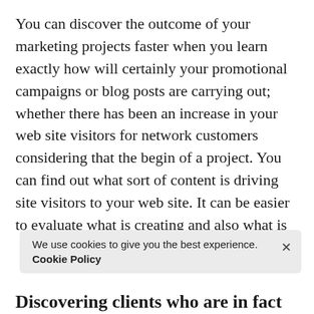You can discover the outcome of your marketing projects faster when you learn exactly how will certainly your promotional campaigns or blog posts are carrying out; whether there has been an increase in your web site visitors for network customers considering that the begin of a project. You can find out what sort of content is driving site visitors to your web site. It can be easier to evaluate what is creating and also what is
We use cookies to give you the best experience. Cookie Policy
Discovering clients who are in fact